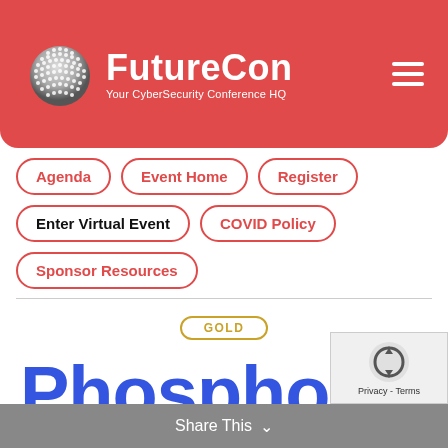[Figure (logo): FutureCon logo with globe icon and tagline 'Your CyberSecurity Conference HQ' on red header background]
Agenda
Event Home
Register
Enter Virtual Event
COVID Policy
Sponsor Resources
[Figure (logo): Phosphorus company logo in large bold blue text with a blue square icon, labeled GOLD sponsor badge above]
Share This ∨